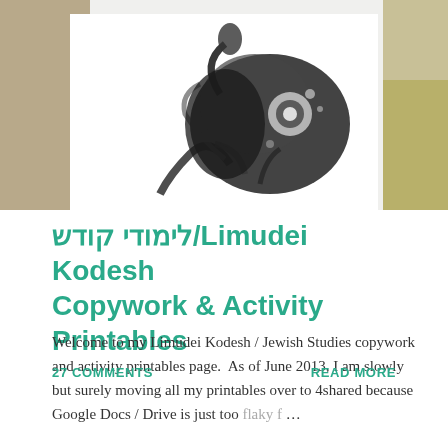[Figure (illustration): A decorative illustration showing a black and white intricate figure/dancer against a white panel with tan/khaki and olive colored background panels on the sides.]
לימודי קודש/Limudei Kodesh Copywork & Activity Printables
Welcome to my Limudei Kodesh / Jewish Studies copywork and activity printables page.  As of June 2013, I am slowly but surely moving all my printables over to 4shared because Google Docs / Drive is just too flaky f …
27 COMMENTS
READ MORE